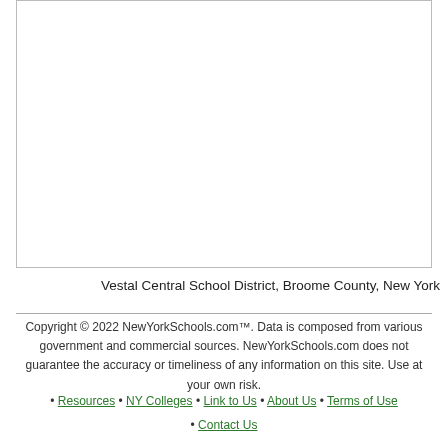[Figure (other): Empty white box with border, likely containing a chart or image above the fold]
Vestal Central School District, Broome County, New York
Copyright © 2022 NewYorkSchools.com™. Data is composed from various government and commercial sources. NewYorkSchools.com does not guarantee the accuracy or timeliness of any information on this site. Use at your own risk.
Resources
NY Colleges
Link to Us
About Us
Terms of Use
Contact Us